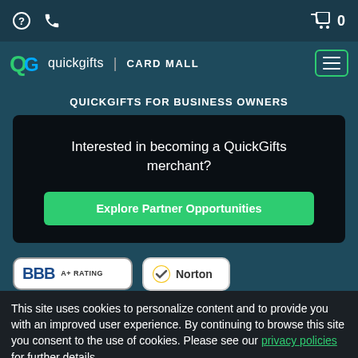QuickGifts Card Mall navigation bar with help, phone, and cart icons
[Figure (logo): QuickGifts logo: 'QG' in green with 'quickgifts | CARD MALL' in white text, and a hamburger menu button with green border on the right]
QUICKGIFTS FOR BUSINESS OWNERS
Interested in becoming a QuickGifts merchant?
Explore Partner Opportunities
[Figure (logo): BBB A+ RATING badge]
[Figure (logo): Norton Secured badge with gold checkmark]
This site uses cookies to personalize content and to provide you with an improved user experience. By continuing to browse this site you consent to the use of cookies. Please see our privacy policies for further details.
© 2022 QUICKGIFTS | 800-440-2065 | 2705 BEE CAVES RD, AUSTIN, TX 78746